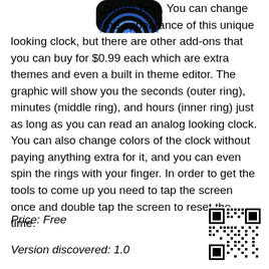[Figure (illustration): Partial view of a circular app icon with blue glowing ring design on black background, top portion cut off]
movie Tron. You can change the appearance of this unique looking clock, but there are other add-ons that you can buy for $0.99 each which are extra themes and even a built in theme editor. The graphic will show you the seconds (outer ring), minutes (middle ring), and hours (inner ring) just as long as you can read an analog looking clock. You can also change colors of the clock without paying anything extra for it, and you can even spin the rings with your finger. In order to get the tools to come up you need to tap the screen once and double tap the screen to reset the time.
Price: Free
Version discovered: 1.0
[Figure (other): QR code]